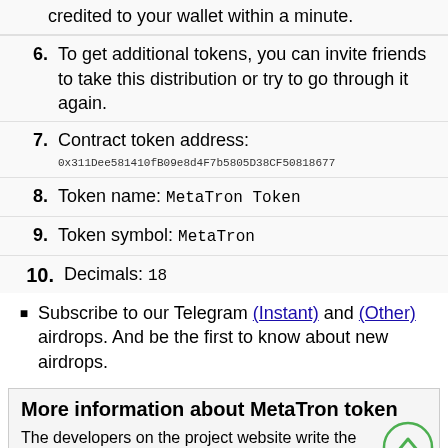credited to your wallet within a minute.
6. To get additional tokens, you can invite friends to take this distribution or try to go through it again.
7. Contract token address: 0x311Dee581410fB09e8d4F7b5805D38CF50818677
8. Token name: MetaTron Token
9. Token symbol: MetaTron
10. Decimals: 18
Subscribe to our Telegram (Instant) and (Other) airdrops. And be the first to know about new airdrops.
More information about MetaTron token
The developers on the project website write the following: MetaTron is a fungible token, that is, it is